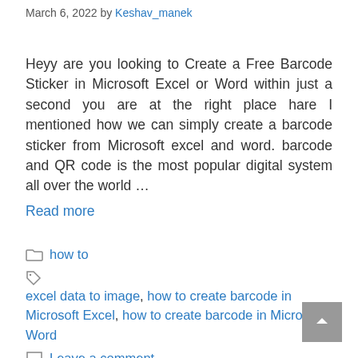March 6, 2022 by Keshav_manek
Heyy are you looking to Create a Free Barcode Sticker in Microsoft Excel or Word within just a second you are at the right place hare I mentioned how we can simply create a barcode sticker from Microsoft excel and word. barcode and QR code is the most popular digital system all over the world … Read more
how to
excel data to image, how to create barcode in Microsoft Excel, how to create barcode in Microsoft Word
Leave a comment